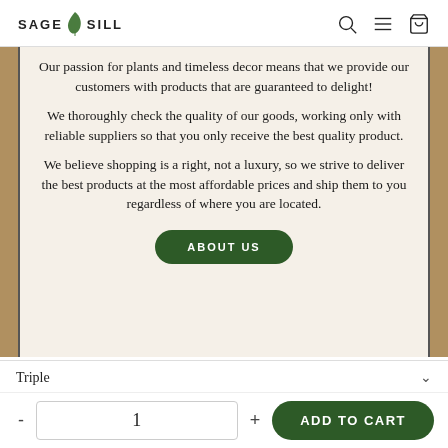SAGE SILL — navigation header with search, menu, and cart icons
Our passion for plants and timeless decor means that we provide our customers with products that are guaranteed to delight!
We thoroughly check the quality of our goods, working only with reliable suppliers so that you only receive the best quality product.
We believe shopping is a right, not a luxury, so we strive to deliver the best products at the most affordable prices and ship them to you regardless of where you are located.
ABOUT US
Triple
1
ADD TO CART